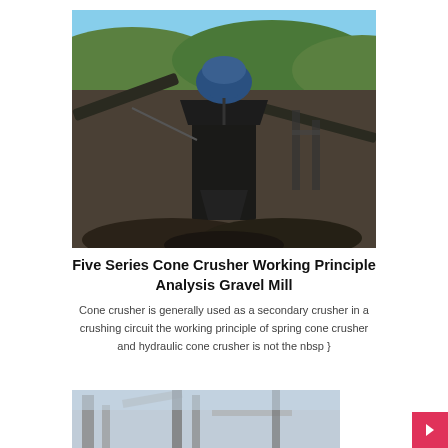[Figure (photo): Outdoor industrial cone crusher machine at a quarry or gravel mill site, surrounded by piles of crushed stone/gravel, with forested hills and blue sky in the background.]
Five Series Cone Crusher Working Principle Analysis Gravel Mill
Cone crusher is generally used as a secondary crusher in a crushing circuit the working principle of spring cone crusher and hydraulic cone crusher is not the nbsp }
[Figure (photo): Partial view of industrial crushing equipment, bottom of page.]